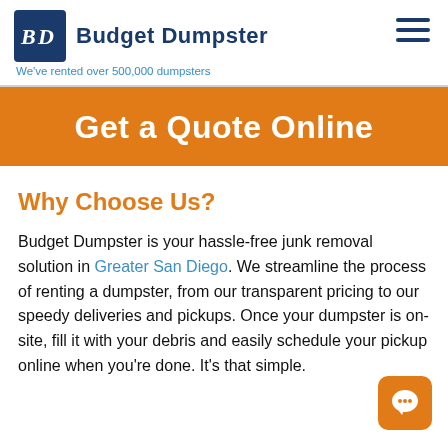Budget Dumpster — We've rented over 500,000 dumpsters
Get a Quote Online
Why Choose Us?
Budget Dumpster is your hassle-free junk removal solution in Greater San Diego. We streamline the process of renting a dumpster, from our transparent pricing to our speedy deliveries and pickups. Once your dumpster is on-site, fill it with your debris and easily schedule your pickup online when you're done. It's that simple.